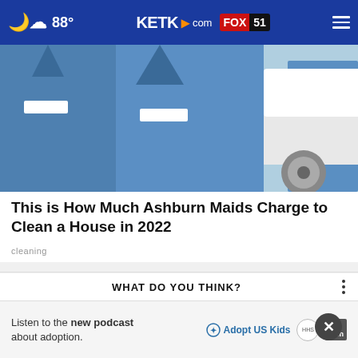88° KETK.com FOX51
[Figure (photo): Three people wearing blue short-sleeve work shirts with name tags, standing in front of a white vehicle. Maids/cleaning service workers.]
This is How Much Ashburn Maids Charge to Clean a House in 2022
cleaning
WHAT DO YOU THINK?
Doing "the wave" in the stands at sporting events: cool or corny?
Listen to the new podcast about adoption.